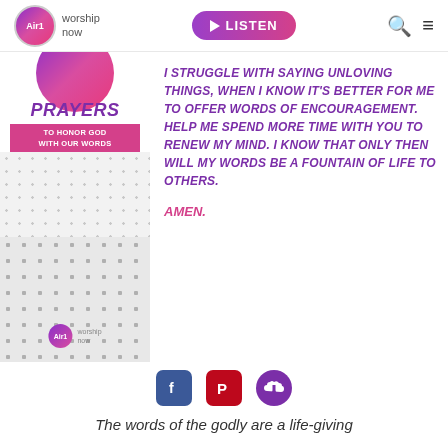Air1 worship now — LISTEN
[Figure (illustration): Air1 worship now branded prayer card with 'PRAYERS TO HONOR GOD WITH OUR WORDS' text, purple gradient circle at top, and dot pattern background with Air1 logo at bottom]
I STRUGGLE WITH SAYING UNLOVING THINGS, WHEN I KNOW IT'S BETTER FOR ME TO OFFER WORDS OF ENCOURAGEMENT. HELP ME SPEND MORE TIME WITH YOU TO RENEW MY MIND. I KNOW THAT ONLY THEN WILL MY WORDS BE A FOUNTAIN OF LIFE TO OTHERS.
AMEN.
[Figure (illustration): Social sharing icons: Facebook (blue), Pinterest (red), Download/cloud (purple)]
The words of the godly are a life-giving